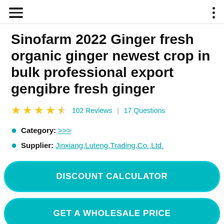[hamburger menu] [three-dot menu]
Sinofarm 2022 Ginger fresh organic ginger newest crop in bulk professional export gengibre fresh ginger
★★★★☆ 102 Reviews | 17 Questions
Category: >>>
Supplier: Jinxiang,Luteng,Trading,Co.,Ltd.
DISCOUNT CALCULATOR
GET A WHOLESALE PRICE